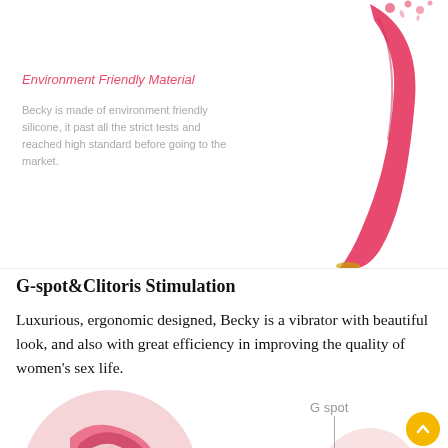[Figure (photo): Pink curved silicone vibrator product photo on white background, right side of page top section. Decorative pink ink splash dots at top.]
Environment Friendly Material
Becky is made of environment friendly silicone, it past all the strict tests and reached high standard before going to the market.
G-spot&Clitoris Stimulation
Luxurious, ergonomic designed, Becky is a vibrator with beautiful look, and also with great efficiency in improving the quality of women's sex life.
[Figure (illustration): Pink circle with anatomical illustration on left bottom. Right side shows partial pink circle with 'G spot' label and vertical line annotation. Yellow scroll-up button bottom right.]